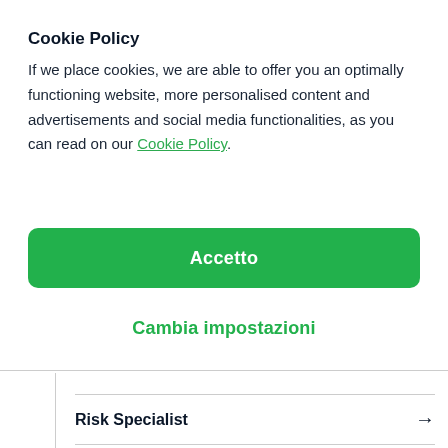Cookie Policy
If we place cookies, we are able to offer you an optimally functioning website, more personalised content and advertisements and social media functionalities, as you can read on our Cookie Policy.
Accetto
Cambia impostazioni
Risk Specialist →